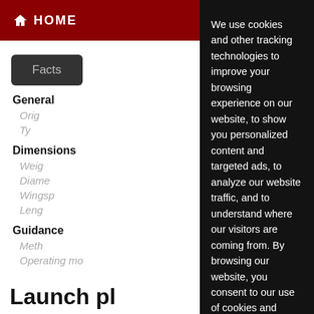HOME
Facts
General
Orig
Ty
Dimensions
Weig
Diame
Wingsp
Leng
Guidance
Meth
Operating mo
We use cookies and other tracking technologies to improve your browsing experience on our website, to show you personalized content and targeted ads, to analyze our website traffic, and to understand where our visitors are coming from. By browsing our website, you consent to our use of cookies and other tracking technologies.
I agree
Change my preferences
Launch pl